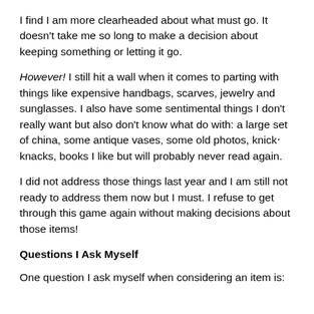I find I am more clearheaded about what must go. It doesn't take me so long to make a decision about keeping something or letting it go.
However! I still hit a wall when it comes to parting with things like expensive handbags, scarves, jewelry and sunglasses. I also have some sentimental things I don't really want but also don't know what do with: a large set of china, some antique vases, some old photos, knick-knacks, books I like but will probably never read again.
I did not address those things last year and I am still not ready to address them now but I must. I refuse to get through this game again without making decisions about those items!
Questions I Ask Myself
One question I ask myself when considering an item is: